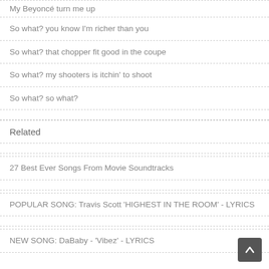My Beyoncé turn me up
So what? you know I'm richer than you
So what? that chopper fit good in the coupe
So what? my shooters is itchin' to shoot
So what? so what?
Related
27 Best Ever Songs From Movie Soundtracks
POPULAR SONG: Travis Scott 'HIGHEST IN THE ROOM' - LYRICS
NEW SONG: DaBaby - 'Vibez' - LYRICS